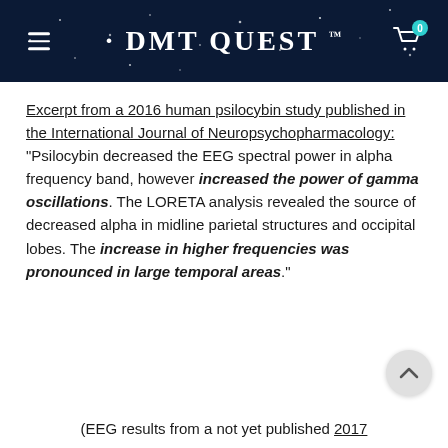DMT QUEST™
Excerpt from a 2016 human psilocybin study published in the International Journal of Neuropsychopharmacology: "Psilocybin decreased the EEG spectral power in alpha frequency band, however increased the power of gamma oscillations. The LORETA analysis revealed the source of decreased alpha in midline parietal structures and occipital lobes. The increase in higher frequencies was pronounced in large temporal areas."
(EEG results from a not yet published 2017